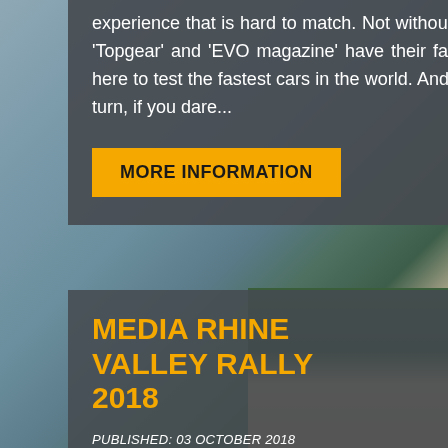[Figure (photo): Background scenic photo of a lake with mountains and town buildings, muted blue-grey tones]
experience that is hard to match. Not without reason both 'Topgear' and 'EVO magazine' have their favourite roads here to test the fastest cars in the world. And now it's your turn, if you dare...
MORE INFORMATION
MEDIA RHINE VALLEY RALLY 2018
PUBLISHED: 03 OCTOBER 2018